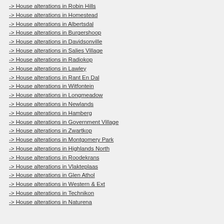-> House alterations in Robin Hills
-> House alterations in Homestead
-> House alterations in Albertsdal
-> House alterations in Burgershoop
-> House alterations in Davidsonville
-> House alterations in Salies Village
-> House alterations in Radiokop
-> House alterations in Lawley
-> House alterations in Rant En Dal
-> House alterations in Witfontein
-> House alterations in Longmeadow
-> House alterations in Newlands
-> House alterations in Hamberg
-> House alterations in Government Village
-> House alterations in Zwartkop
-> House alterations in Montgomery Park
-> House alterations in Highlands North
-> House alterations in Roodekrans
-> House alterations in Vlakteplaas
-> House alterations in Glen Athol
-> House alterations in Western & Ext
-> House alterations in Technikon
-> House alterations in Naturena